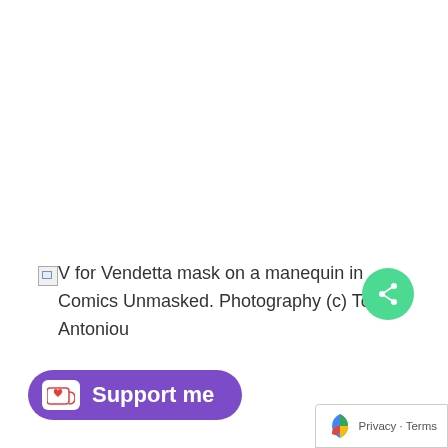[Figure (photo): Broken image placeholder with alt text: V for Vendetta mask on a manequin in Comics Unmasked. Photography (c) Tony Antoniou]
V for Vendetta mask on a manequin in Comics Unmasked. Photography (c) Tony Antoniou
[Figure (other): Support me button (Ko-fi style) with purple background and heart icon]
[Figure (other): Green circular share button with share icon]
Privacy · Terms